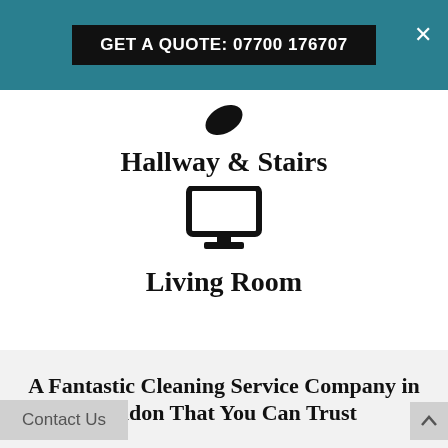GET A QUOTE: 07700 176707
[Figure (illustration): Black leaf/feather icon at top of white section]
Hallway & Stairs
[Figure (illustration): Black monitor/desktop computer icon]
Living Room
A Fantastic Cleaning Service Company in London That You Can Trust
Contact Us